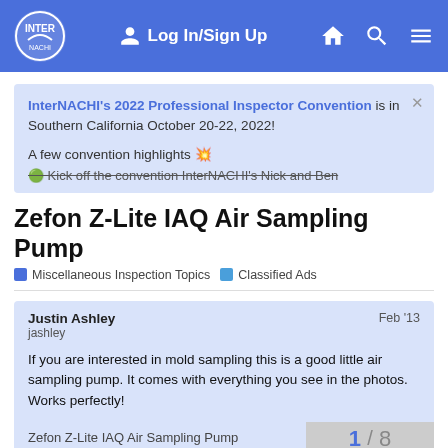Log In/Sign Up
InterNACHI's 2022 Professional Inspector Convention is in Southern California October 20-22, 2022!

A few convention highlights 💥

🟢 Kick off the convention InterNACHI's Nick and Ben
Zefon Z-Lite IAQ Air Sampling Pump
Miscellaneous Inspection Topics   Classified Ads
Justin Ashley
jashley
Feb '13

If you are interested in mold sampling this is a good little air sampling pump. It comes with everything you see in the photos. Works perfectly!

Zefon Z-Lite IAQ Air Sampling Pump
1 / 8